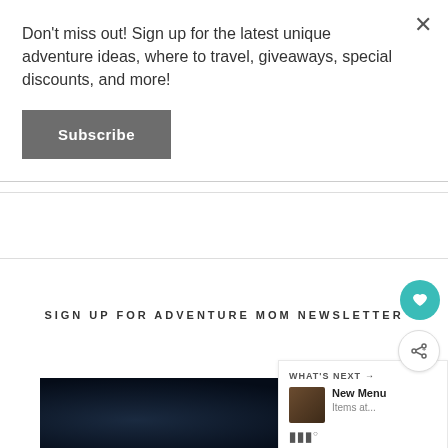Don't miss out! Sign up for the latest unique adventure ideas, where to travel, giveaways, special discounts, and more!
Subscribe
SIGN UP FOR ADVENTURE MOM NEWSLETTER
SUBSCRIBE
[Figure (screenshot): Dark starry-night background section at the bottom of the page]
[Figure (infographic): WHAT'S NEXT widget with thumbnail and text: New Menu, Items at....]
[Figure (other): Floating heart icon button (teal circle with heart)]
[Figure (other): Floating share icon button (white circle with share icon)]